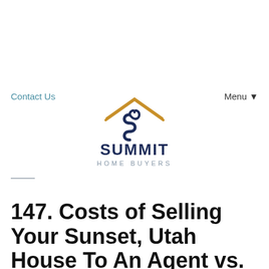[Figure (logo): Summit Home Buyers logo with gold roof/house icon above a heart shape forming the S, dark navy blue text SUMMIT and gray text HOME BUYERS]
Contact Us   Menu ▼
147. Costs of Selling Your Sunset, Utah House To An Agent vs. An Investor
June 2, 2021
By Stanford Mead
Call Us! (801) 410-0341